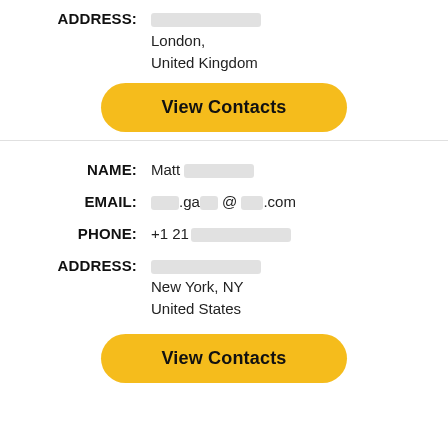ADDRESS: [redacted]
London,
United Kingdom
View Contacts
NAME: Matt [redacted]
EMAIL: [redacted].ga[redacted]@[redacted].com
PHONE: +1 21[redacted]
ADDRESS: [redacted]
New York, NY
United States
View Contacts